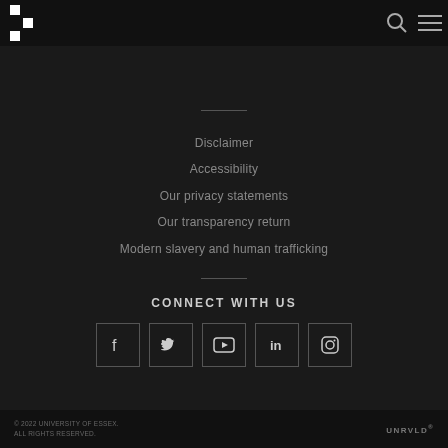[Figure (logo): University of Essex checkered logo in top-left navigation bar]
[Figure (screenshot): Search and hamburger menu icons in top-right navigation bar]
Disclaimer
Accessibility
Our privacy statements
Our transparency return
Modern slavery and human trafficking
CONNECT WITH US
[Figure (infographic): Social media icons: Facebook, Twitter, YouTube, LinkedIn, Instagram — each in a square border outline]
© 2022 UNIVERSITY OF ESSEX. ALL RIGHTS RESERVED.
UNRVLD®